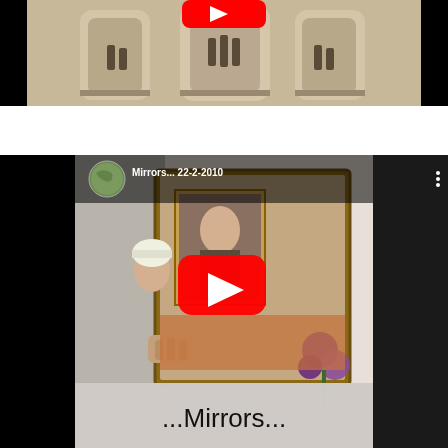[Figure (screenshot): YouTube video thumbnail (top, partially visible): shows a cathedral interior with ornate facade, statues in niches, black letterbox bars on sides. Red YouTube play button visible at top center.]
[Figure (screenshot): YouTube video embed for 'Mirrors... 22-2-2010'. Thumbnail shows a Persian miniature painting of a figure holding a framed Mona Lisa, with purple flowers. Red YouTube play button in center. Channel icon (circular map image) and title 'Mirrors... 22-2-2010' in upper left. Three-dot menu in upper right. Text '...Mirrors...' displayed in large font at bottom of thumbnail.]